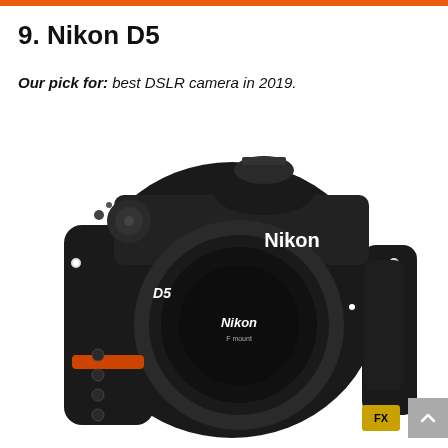9. Nikon D5
Our pick for: best DSLR camera in 2019.
[Figure (photo): Front view of the Nikon D5 DSLR camera body in black, showing the Nikon logo, D5 label, lens mount, and control dials. An FX format badge is visible in the bottom right corner.]